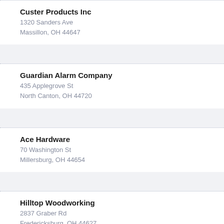Custer Products Inc
1320 Sanders Ave
Massillon, OH 44647
Guardian Alarm Company
435 Applegrove St
North Canton, OH 44720
Ace Hardware
70 Washington St
Millersburg, OH 44654
Hilltop Woodworking
2837 Graber Rd
Fredericksburg, OH 44627
T.V.C.C. Inc